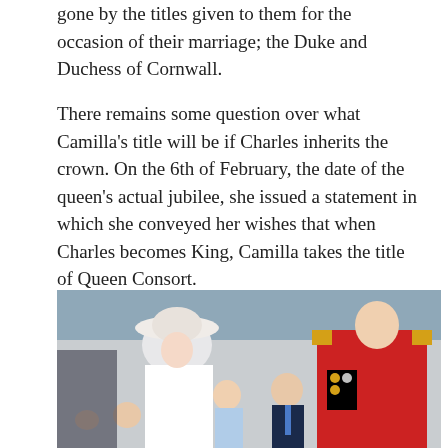gone by the titles given to them for the occasion of their marriage; the Duke and Duchess of Cornwall.
There remains some question over what Camilla's title will be if Charles inherits the crown. On the 6th of February, the date of the queen's actual jubilee, she issued a statement in which she conveyed her wishes that when Charles becomes King, Camilla takes the title of Queen Consort.
[Figure (photo): Royal family on a balcony: Kate Middleton in white outfit and hat laughing, Prince William in red military uniform smiling, children including Prince George, Princess Charlotte, and Prince Louis in foreground.]